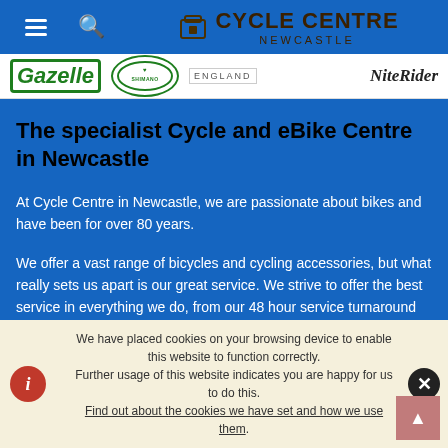Cycle Centre Newcastle
[Figure (logo): Logo strip with Gazelle, Shimano, England, and NiteRider brand logos]
The specialist Cycle and eBike Centre in Newcastle
At Cycle Centre in Newcastle, we are passionate about bikes and have been for over 80 years.
We offer a vast range of bicycles and cycling accessories, but what really sets us apart is our great service. We strive to offer the best service in everything we do, from our 48 hour service turnaround time on bikes bought from Cycle Centre, social rides, the events we
We have placed cookies on your browsing device to enable this website to function correctly.
Further usage of this website indicates you are happy for us to do this.
Find out about the cookies we have set and how we use them.